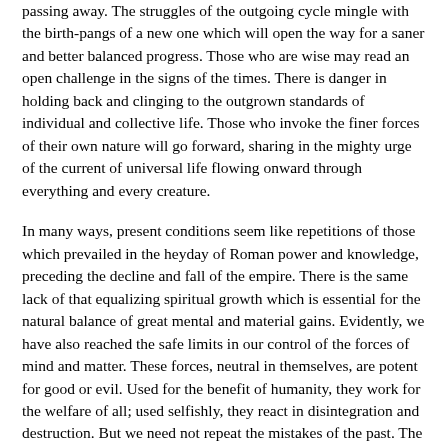passing away. The struggles of the outgoing cycle mingle with the birth-pangs of a new one which will open the way for a saner and better balanced progress. Those who are wise may read an open challenge in the signs of the times. There is danger in holding back and clinging to the outgrown standards of individual and collective life. Those who invoke the finer forces of their own nature will go forward, sharing in the mighty urge of the current of universal life flowing onward through everything and every creature.
In many ways, present conditions seem like repetitions of those which prevailed in the heyday of Roman power and knowledge, preceding the decline and fall of the empire. There is the same lack of that equalizing spiritual growth which is essential for the natural balance of great mental and material gains. Evidently, we have also reached the safe limits in our control of the forces of mind and matter. These forces, neutral in themselves, are potent for good or evil. Used for the benefit of humanity, they work for the welfare of all; used selfishly, they react in disintegration and destruction. But we need not repeat the mistakes of the past. The time has come for humanity to become more wholly human by bringing forth the finer and nobler qualities and powers from within its own nature.
Without question, the present time is a critical one. But if we face the responsibility of it, open-eyed and honestly, it is seen as a time of unusual opportunity. Human beings are essentially spiritual beings who can control the energies which their selfishness utilizes.